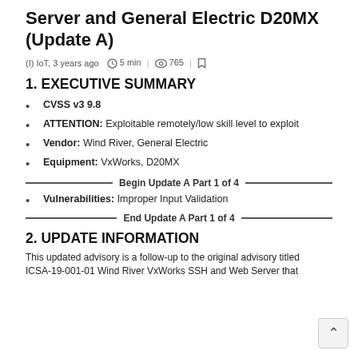Server and General Electric D20MX (Update A)
(I) IoT, 3 years ago   5 min   765
1. EXECUTIVE SUMMARY
CVSS v3 9.8
ATTENTION: Exploitable remotely/low skill level to exploit
Vendor: Wind River, General Electric
Equipment: VxWorks, D20MX
——— Begin Update A Part 1 of 4 ———
Vulnerabilities: Improper Input Validation
——— End Update A Part 1 of 4 ———
2. UPDATE INFORMATION
This updated advisory is a follow-up to the original advisory titled ICSA-19-001-01 Wind River VxWorks SSH and Web Server that